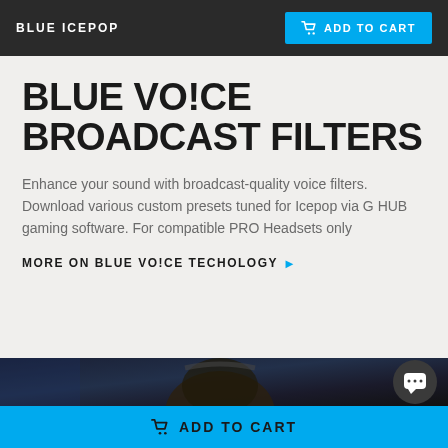BLUE ICEPOP
BLUE VO!CE BROADCAST FILTERS
Enhance your sound with broadcast-quality voice filters. Download various custom presets tuned for Icepop via G HUB gaming software. For compatible PRO Headsets only
MORE ON BLUE VO!CE TECHOLOGY ▶
[Figure (photo): Dark photo of a person wearing a gaming headset, partially visible from the top of the head]
ADD TO CART